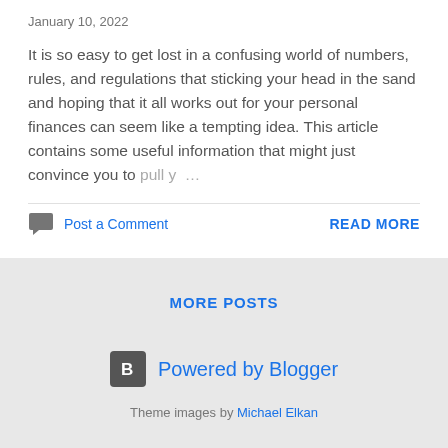January 10, 2022
It is so easy to get lost in a confusing world of numbers, rules, and regulations that sticking your head in the sand and hoping that it all works out for your personal finances can seem like a tempting idea. This article contains some useful information that might just convince you to pull y ...
Post a Comment
READ MORE
MORE POSTS
Powered by Blogger
Theme images by Michael Elkan